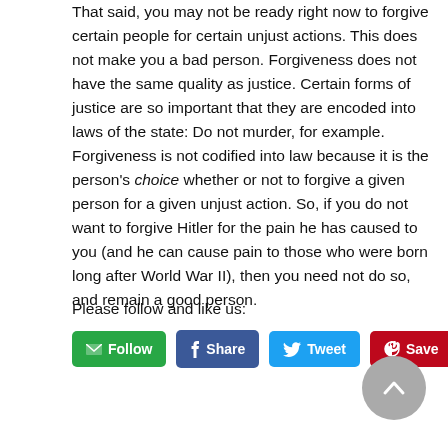That said, you may not be ready right now to forgive certain people for certain unjust actions. This does not make you a bad person. Forgiveness does not have the same quality as justice. Certain forms of justice are so important that they are encoded into laws of the state: Do not murder, for example. Forgiveness is not codified into law because it is the person's choice whether or not to forgive a given person for a given unjust action. So, if you do not want to forgive Hitler for the pain he has caused to you (and he can cause pain to those who were born long after World War II), then you need not do so, and remain a good person.
Please follow and like us:
[Figure (other): Social sharing buttons: Follow (green), Share (Facebook blue), Tweet (Twitter blue), Save (Pinterest red), and a scroll-to-top circular grey button]